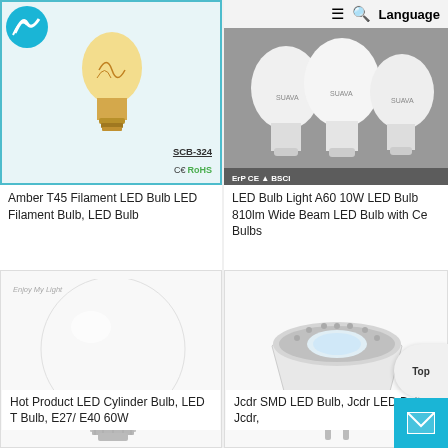[Figure (photo): Amber T45 filament LED bulb product image with teal border, CE RoHS certification marks, and SCB-324 label]
Amber T45 Filament LED Bulb LED Filament Bulb, LED Bulb
[Figure (photo): Three white LED bulb A60 lamps on dark background with ErP, CE, BSCI certification logos and navigation bar overlay]
LED Bulb Light A60 10W LED Bulb 810lm Wide Beam LED Bulb with Ce Bulbs
[Figure (photo): Hot Product LED Cylinder Bulb large white globe-style LED lamp with heat sink, Enjoy My Light branding]
Hot Product LED Cylinder Bulb, LED T Bulb, E27/ E40 60W
[Figure (photo): Jcdr SMD LED spot bulb MR16 style with white housing and two pin base]
Jcdr SMD LED Bulb, Jcdr LED Bulb, Jcdr,